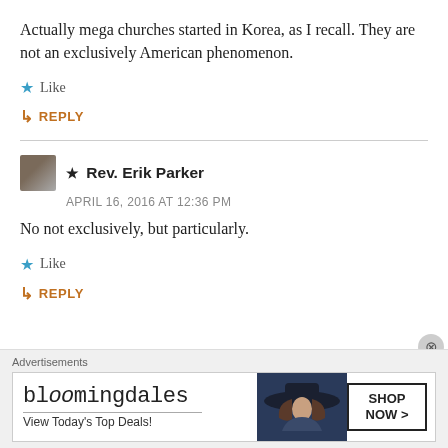Actually mega churches started in Korea, as I recall. They are not an exclusively American phenomenon.
★ Like
↳ REPLY
★ Rev. Erik Parker
APRIL 16, 2016 AT 12:36 PM
No not exclusively, but particularly.
★ Like
↳ REPLY
Advertisements
[Figure (other): Bloomingdale's advertisement banner with woman in hat and 'SHOP NOW >' button]